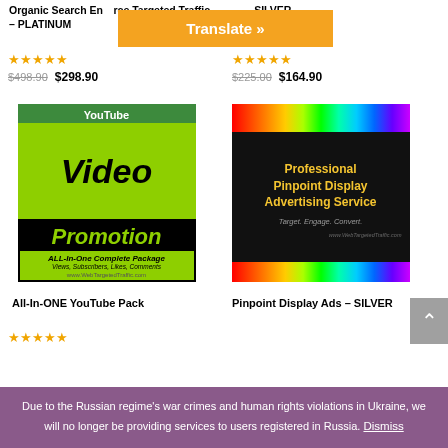Translate »
Organic Search En...rce Targeted Traffic – PLATINUM ... – SILVER
[Figure (illustration): Star rating (5 stars) for first product]
$498.90 $298.90
... Targeted Traffic – SILVER
[Figure (illustration): Star rating (5 stars) for second product]
$225.00 $164.90
[Figure (illustration): YouTube Video Promotion ALL-In-One Complete Package product box image]
[Figure (illustration): Professional Pinpoint Display Advertising Service product box image]
All-In-ONE YouTube Pack
Pinpoint Display Ads – SILVER
[Figure (illustration): Star rating (5 stars) for All-In-ONE YouTube Pack]
Due to the Russian regime's war crimes and human rights violations in Ukraine, we will no longer be providing services to users registered in Russia. Dismiss